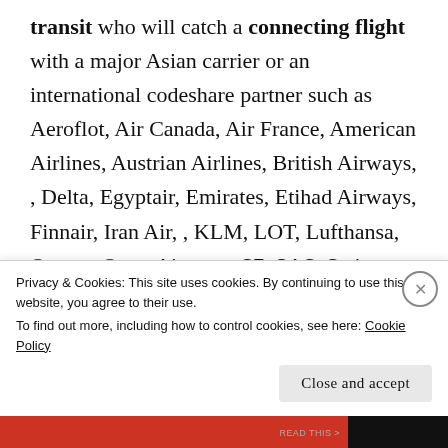transit who will catch a connecting flight with a major Asian carrier or an international codeshare partner such as Aeroflot, Air Canada, Air France, American Airlines, Austrian Airlines, British Airways, , Delta, Egyptair, Emirates, Etihad Airways, Finnair, Iran Air, , KLM, LOT, Lufthansa, Qantas, Qatar Airways, S7, SAS, Swiss, Turkish Airlines or United.
Privacy & Cookies: This site uses cookies. By continuing to use this website, you agree to their use. To find out more, including how to control cookies, see here: Cookie Policy